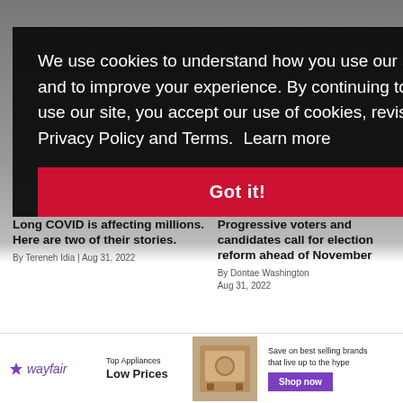[Figure (screenshot): News website background showing two article thumbnails and footer navigation, partially obscured by cookie consent overlay]
We use cookies to understand how you use our site and to improve your experience. By continuing to use our site, you accept our use of cookies, revised Privacy Policy and Terms. Learn more
Got it!
Long COVID is affecting millions. Here are two of their stories.
By Tereneh Idia | Aug 31, 2022
Progressive voters and candidates call for election reform ahead of November
By Dontae Washington Aug 31, 2022
ADVERTISE
ABOUT US
EMPLOYMENT
CONTACT US
COMMENTS/PRIVACY POLICY
RSS FEED
[Figure (infographic): Wayfair advertisement banner: wayfair logo, Top Appliances Low Prices text, appliance image, Save on best selling brands that live up to the hype, Shop now button]